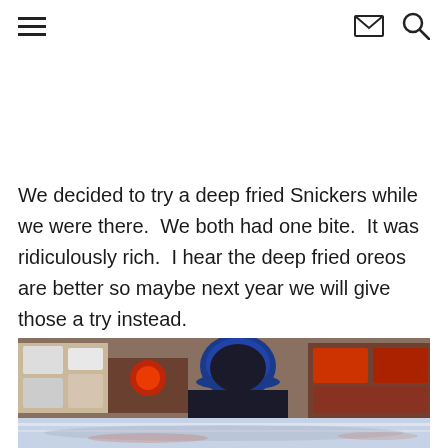[hamburger menu] [envelope icon] [search icon]
We decided to try a deep fried Snickers while we were there.  We both had one bite.  It was ridiculously rich.  I hear the deep fried oreos are better so maybe next year we will give those a try instead.
[Figure (photo): A photo taken inside what appears to be a fair or market stall, showing a person wearing a blue cap viewed from behind, with vendor displays and red lighting visible in the background, and a blurry reflective surface in the foreground.]